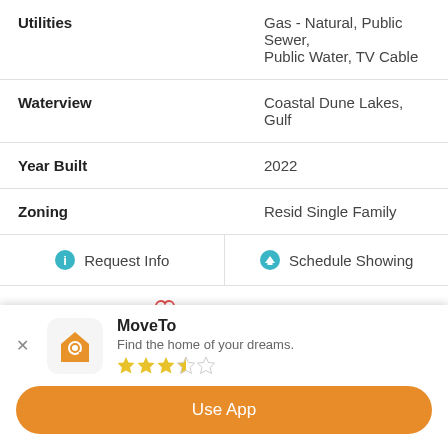| Property | Value |
| --- | --- |
| Utilities | Gas - Natural, Public Sewer, Public Water, TV Cable |
| Waterview | Coastal Dune Lakes, Gulf |
| Year Built | 2022 |
| Zoning | Resid Single Family |
Request Info
Schedule Showing
Add to Favorites
[Figure (screenshot): MoveTo app banner with orange house/search icon, app name MoveTo, tagline Find the home of your dreams, 3.5 star rating, and Use App button]